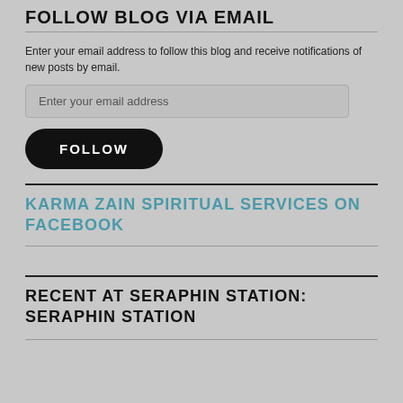FOLLOW BLOG VIA EMAIL
Enter your email address to follow this blog and receive notifications of new posts by email.
Enter your email address
FOLLOW
KARMA ZAIN SPIRITUAL SERVICES ON FACEBOOK
RECENT AT SERAPHIN STATION: SERAPHIN STATION